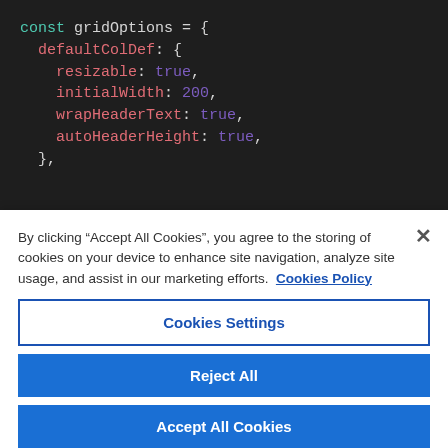[Figure (screenshot): Code editor screenshot showing JavaScript object literal 'const gridOptions = { defaultColDef: { resizable: true, initialWidth: 200, wrapHeaderText: true, autoHeaderHeight: true, },' with syntax highlighting on dark background]
By clicking "Accept All Cookies", you agree to the storing of cookies on your device to enhance site navigation, analyze site usage, and assist in our marketing efforts.  Cookies Policy
Cookies Settings
Reject All
Accept All Cookies